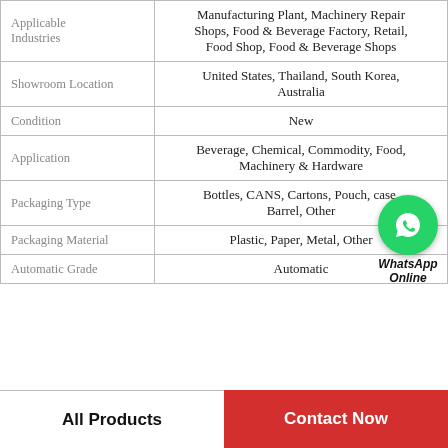|  |  |
| --- | --- |
| Applicable Industries | Manufacturing Plant, Machinery Repair Shops, Food & Beverage Factory, Retail, Food Shop, Food & Beverage Shops |
| Showroom Location | United States, Thailand, South Korea, Australia |
| Condition | New |
| Application | Beverage, Chemical, Commodity, Food, Machinery & Hardware |
| Packaging Type | Bottles, CANS, Cartons, Pouch, case, Barrel, Other |
| Packaging Material | Plastic, Paper, Metal, Other |
| Automatic Grade | Automatic |
[Figure (logo): WhatsApp Online button overlay with green circle phone icon and bold italic 'WhatsApp Online' text]
All Products    Contact Now